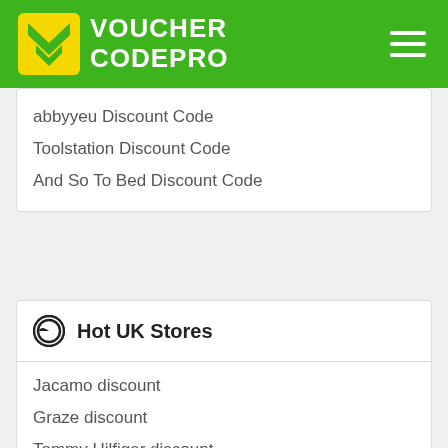VOUCHER CODEPRO
abbyyeu Discount Code
Toolstation Discount Code
And So To Bed Discount Code
Hot UK Stores
Jacamo discount
Graze discount
Tommy Hilfiger discount
IceLolly discount
Flooring Superstore discount
Bargain Max discount
ETO Jeans discount
Fineflora discount